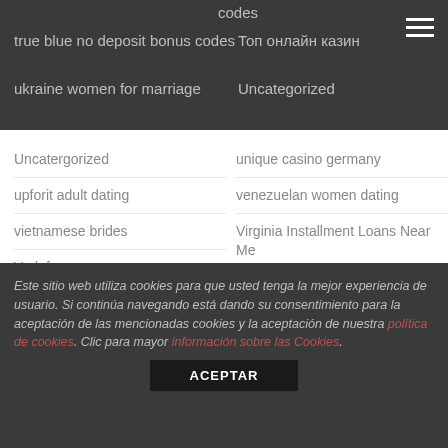codes | true blue no deposit bonus codes | Топ онлайн казин | ukraine women for marriage | Uncategorized
Uncatergorized
unique casino germany
upforit adult dating
venezuelan women dating
vietnamese brides
Virginia Installment Loans Near Me
Vodafone
Wifelovers Movies
Wisconsin Payday Loans Near Me
women from chile
women of cape verde
women of bolivia
women of ecuador
Este sitio web utiliza cookies para que usted tenga la mejor experiencia de usuario. Si continúa navegando está dando su consentimiento para la aceptación de las mencionadas cookies y la aceptación de nuestra política de cookies. Clic para mayor información sobre las Cookies.